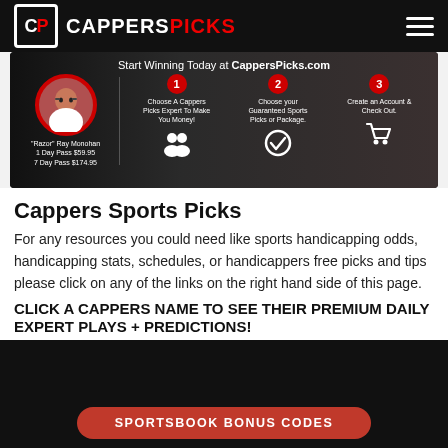CP CAPPERS PICKS
[Figure (infographic): Promotional banner for CappersPicks.com showing Razor Ray Monohan with 1 Day Pass $59.95 and 7 Day Pass $174.95, and three steps: 1 Choose A Cappers Picks Expert To Make You Money!, 2 Choose your Guaranteed Sports Picks or Package., 3 Create an Account & Check Out.]
Cappers Sports Picks
For any resources you could need like sports handicapping odds, handicapping stats, schedules, or handicappers free picks and tips please click on any of the links on the right hand side of this page.
CLICK A CAPPERS NAME TO SEE THEIR PREMIUM DAILY EXPERT PLAYS + PREDICTIONS!
SPORTSBOOK BONUS CODES